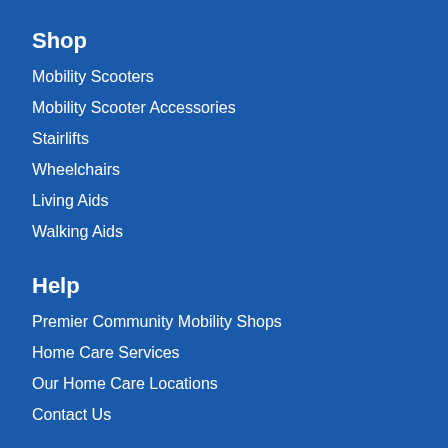Shop
Mobility Scooters
Mobility Scooter Accessories
Stairlifts
Wheelchairs
Living Aids
Walking Aids
Help
Premier Community Mobility Shops
Home Care Services
Our Home Care Locations
Contact Us